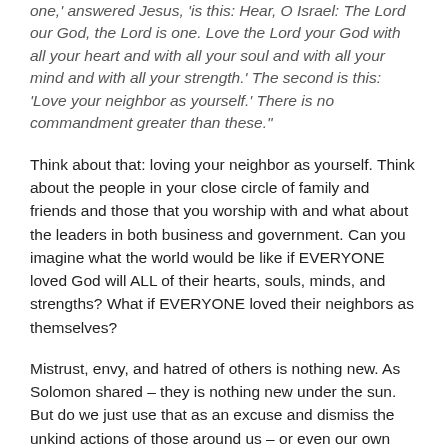one,' answered Jesus, 'is this: Hear, O Israel: The Lord our God, the Lord is one. Love the Lord your God with all your heart and with all your soul and with all your mind and with all your strength.' The second is this: 'Love your neighbor as yourself.' There is no commandment greater than these."
Think about that: loving your neighbor as yourself. Think about the people in your close circle of family and friends and those that you worship with and what about the leaders in both business and government. Can you imagine what the world would be like if EVERYONE loved God will ALL of their hearts, souls, minds, and strengths? What if EVERYONE loved their neighbors as themselves?
Mistrust, envy, and hatred of others is nothing new. As Solomon shared – they is nothing new under the sun. But do we just use that as an excuse and dismiss the unkind actions of those around us – or even our own unkind actions?